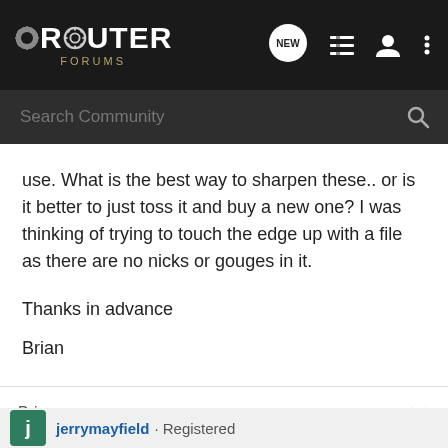ROUTER FORUMS
use. What is the best way to sharpen these.. or is it better to just toss it and buy a new one? I was thinking of trying to touch the edge up with a file as there are no nicks or gouges in it.
Thanks in advance
Brian
Brian
jerrymayfield · Registered